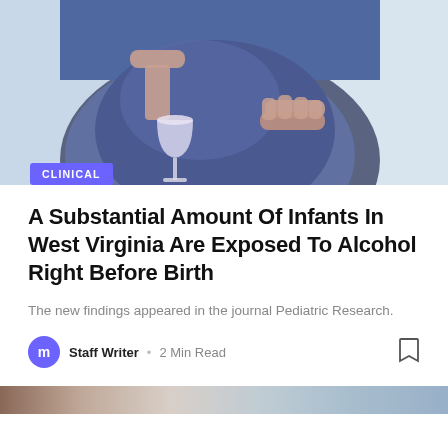[Figure (photo): Close-up of a pregnant person's belly wearing blue clothing, holding a wine glass with one hand and cradling the belly with the other hand, on a light blue background]
CLINICAL
A Substantial Amount Of Infants In West Virginia Are Exposed To Alcohol Right Before Birth
The new findings appeared in the journal Pediatric Research.
Staff Writer · 2 Min Read
[Figure (photo): Partial view of a second article image, partially visible at the bottom of the page]